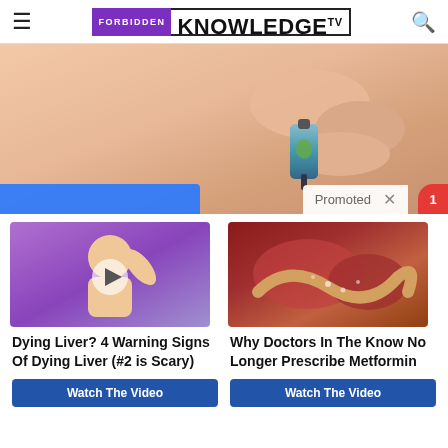FORBIDDEN KNOWLEDGE TV
[Figure (illustration): Hero banner image showing a hand holding a small bottle/dropper against skin, with a 'Promoted' label and X close button overlay, and a red notification badge.]
[Figure (illustration): Thumbnail image of a person scratching their back/armpit area with a purple background and a play button overlay.]
Dying Liver? 4 Warning Signs Of Dying Liver (#2 is Scary)
Watch The Video
[Figure (illustration): Thumbnail image of internal organ/intestines in red and yellow tones.]
Why Doctors In The Know No Longer Prescribe Metformin
Watch The Video